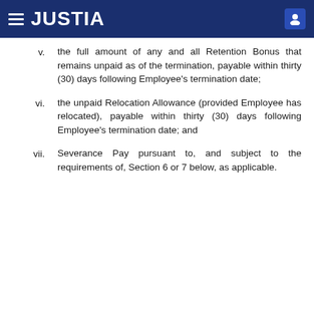JUSTIA
v.	the full amount of any and all Retention Bonus that remains unpaid as of the termination, payable within thirty (30) days following Employee's termination date;
vi.	the unpaid Relocation Allowance (provided Employee has relocated), payable within thirty (30) days following Employee's termination date; and
vii.	Severance Pay pursuant to, and subject to the requirements of, Section 6 or 7 below, as applicable.